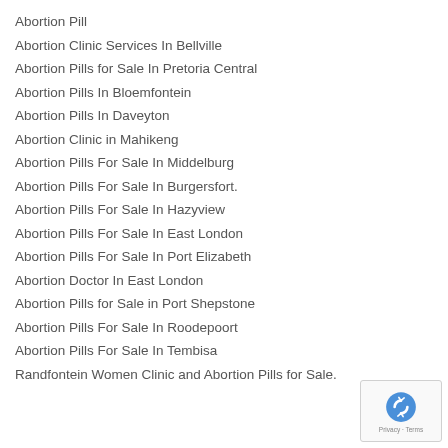Abortion Pill
Abortion Clinic Services In Bellville
Abortion Pills for Sale In Pretoria Central
Abortion Pills In Bloemfontein
Abortion Pills In Daveyton
Abortion Clinic in Mahikeng
Abortion Pills For Sale In Middelburg
Abortion Pills For Sale In Burgersfort.
Abortion Pills For Sale In Hazyview
Abortion Pills For Sale In East London
Abortion Pills For Sale In Port Elizabeth
Abortion Doctor In East London
Abortion Pills for Sale in Port Shepstone
Abortion Pills For Sale In Roodepoort
Abortion Pills For Sale In Tembisa
Randfontein Women Clinic and Abortion Pills for Sale.